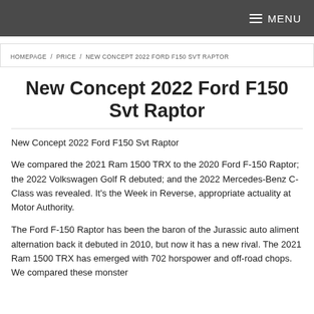MENU
HOMEPAGE / PRICE / NEW CONCEPT 2022 FORD F150 SVT RAPTOR
New Concept 2022 Ford F150 Svt Raptor
New Concept 2022 Ford F150 Svt Raptor
We compared the 2021 Ram 1500 TRX to the 2020 Ford F-150 Raptor; the 2022 Volkswagen Golf R debuted; and the 2022 Mercedes-Benz C-Class was revealed. It's the Week in Reverse, appropriate actuality at Motor Authority.
The Ford F-150 Raptor has been the baron of the Jurassic auto aliment alternation back it debuted in 2010, but now it has a new rival. The 2021 Ram 1500 TRX has emerged with 702 horspower and off-road chops. We compared these monster